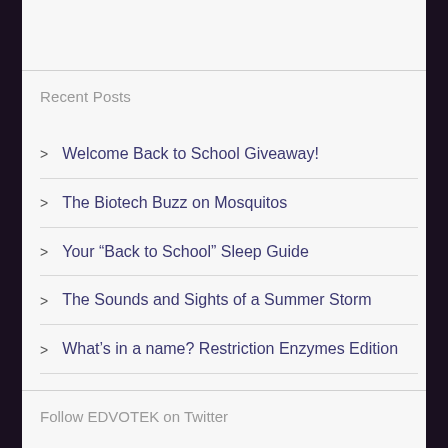Recent Posts
Welcome Back to School Giveaway!
The Biotech Buzz on Mosquitos
Your “Back to School” Sleep Guide
The Sounds and Sights of a Summer Storm
What’s in a name? Restriction Enzymes Edition
Follow EDVOTEK on Twitter